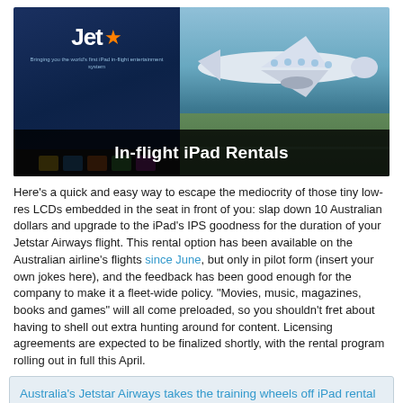[Figure (photo): Hero image showing a Jetstar iPad with logo on left and a plane on a runway on the right, with a black banner overlay reading 'In-flight iPad Rentals']
Here's a quick and easy way to escape the mediocrity of those tiny low-res LCDs embedded in the seat in front of you: slap down 10 Australian dollars and upgrade to the iPad's IPS goodness for the duration of your Jetstar Airways flight. This rental option has been available on the Australian airline's flights since June, but only in pilot form (insert your own jokes here), and the feedback has been good enough for the company to make it a fleet-wide policy. "Movies, music, magazines, books and games" will all come preloaded, so you shouldn't fret about having to shell out extra hunting around for content. Licensing agreements are expected to be finalized shortly, with the rental program rolling out in full this April.
Australia's Jetstar Airways takes the training wheels off iPad rental program, wants the tablet 'on every aircraft'